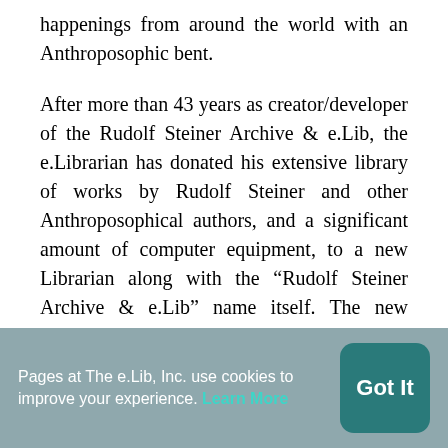happenings from around the world with an Anthroposophic bent.
After more than 43 years as creator/developer of the Rudolf Steiner Archive & e.Lib, the e.Librarian has donated his extensive library of works by Rudolf Steiner and other Anthroposophical authors, and a significant amount of computer equipment, to a new Librarian along with the “Rudolf Steiner Archive & e.Lib” name itself. The new owners will continue to provide ongoing technical support, including maintaining Archive backups. It was time for a
Pages at The e.Lib, Inc. use cookies to improve your experience. Learn More  Got It